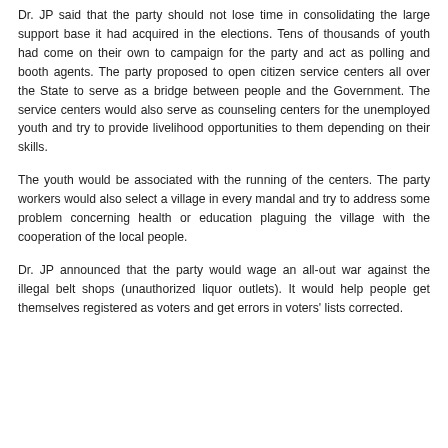Dr. JP said that the party should not lose time in consolidating the large support base it had acquired in the elections. Tens of thousands of youth had come on their own to campaign for the party and act as polling and booth agents. The party proposed to open citizen service centers all over the State to serve as a bridge between people and the Government. The service centers would also serve as counseling centers for the unemployed youth and try to provide livelihood opportunities to them depending on their skills.
The youth would be associated with the running of the centers. The party workers would also select a village in every mandal and try to address some problem concerning health or education plaguing the village with the cooperation of the local people.
Dr. JP announced that the party would wage an all-out war against the illegal belt shops (unauthorized liquor outlets). It would help people get themselves registered as voters and get errors in voters' lists corrected.